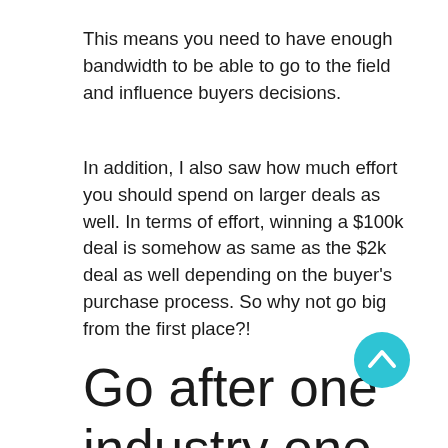This means you need to have enough bandwidth to be able to go to the field and influence buyers decisions.
In addition, I also saw how much effort you should spend on larger deals as well. In terms of effort, winning a $100k deal is somehow as same as the $2k deal as well depending on the buyer's purchase process. So why not go big from the first place?!
Go after one industry one at